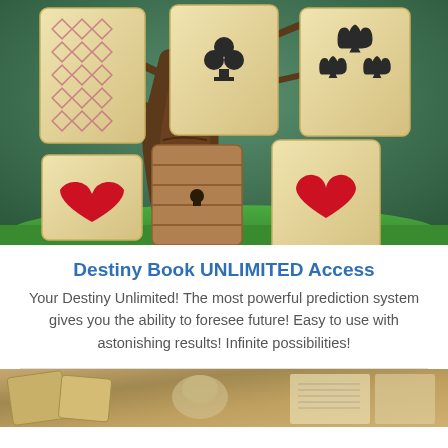[Figure (illustration): Fantasy illustration of playing cards (hearts, spades, clubs, diamonds) arranged around and against a large gnarled tree trunk, with roses and greenery, on a green surface. Cards include heart, spade, club suit symbols in various arrangements.]
Destiny Book UNLIMITED Access
Your Destiny Unlimited! The most powerful prediction system gives you the ability to foresee future! Easy to use with astonishing results! Infinite possibilities!
[Figure (photo): Partial view of a second image at the bottom showing what appears to be tarot/playing cards and mystical objects on a table surface.]